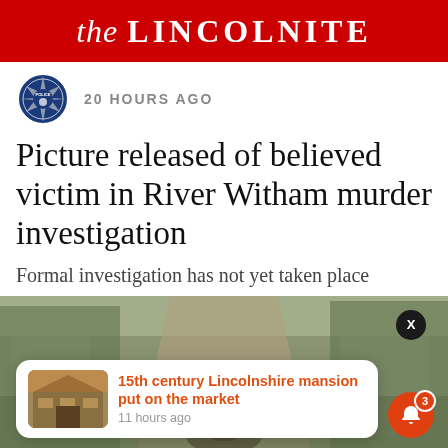the LINCOLNITE
20 HOURS AGO
Picture released of believed victim in River Witham murder investigation
Formal investigation has not yet taken place
[Figure (photo): Outdoor woodland scene with a path/road, partially obscured, background for article]
15th century Lincolnshire mansion put on the market
11 hours ago